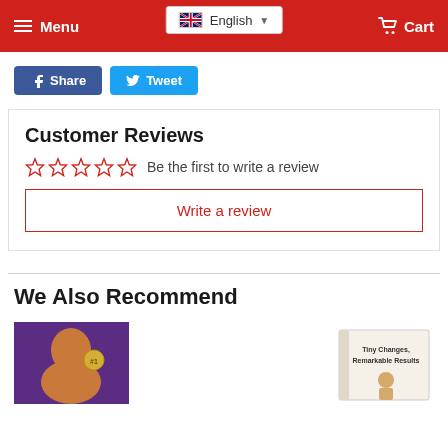Menu  English  Cart
Share  Tweet
Customer Reviews
☆☆☆☆☆ Be the first to write a review
Write a review
We Also Recommend
[Figure (photo): Book cover with person's face on purple background]
[Figure (photo): Book cover titled Tiny Changes, Remarkable Results]